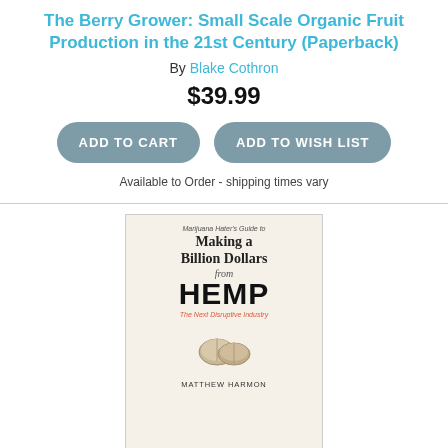The Berry Grower: Small Scale Organic Fruit Production in the 21st Century (Paperback)
By Blake Cothron
$39.99
ADD TO CART
ADD TO WISH LIST
Available to Order - shipping times vary
[Figure (photo): Book cover for 'Marijuana Hater's Guide to Making a Billion Dollars from Hemp: The Next Disruptive Industry' by Matthew Harmon. Shows title text in serif and sans-serif fonts with an illustration of hemp seeds/nuts.]
Marijuana Hater's Guide to Making a Billion Dollars from Hemp: The Next Disruptive Industry (Paperback)
By Matthew Harmon
$19.99